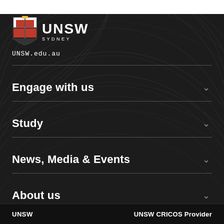[Figure (logo): UNSW Sydney university logo — shield crest on left, UNSW SYDNEY wordmark on right, white on dark background]
UNSW.edu.au
Engage with us
Study
News, Media & Events
About us
UNSW    UNSW CRICOS Provider